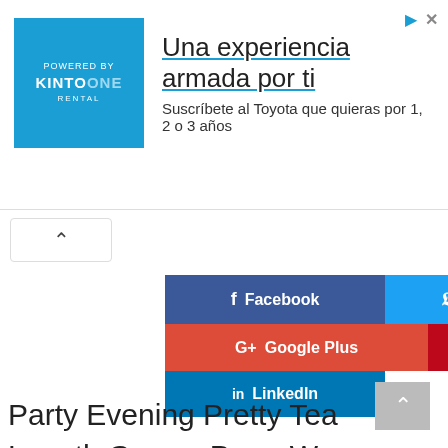[Figure (other): Advertisement banner for Kinto One Toyota subscription service. Blue square logo on left with 'KINTO ONE' text. Headline: 'Una experiencia armada por ti'. Subtext: 'Suscríbete al Toyota que quieras por 1, 2 o 3 años'. Play and close icons top right.]
[Figure (other): Collapse/up arrow button below the ad banner]
[Figure (other): Social media share buttons: Facebook (dark blue), Twitter (light blue), Google Plus (red-orange), Pinterest (dark red), LinkedIn (blue)]
Party Evening Pretty Tea Length Gowns Prom Women Midi Corset Dress Backless Vintage Off The Shoulder
[Figure (other): Scroll-to-top button (grey square with upward arrow) at bottom right]